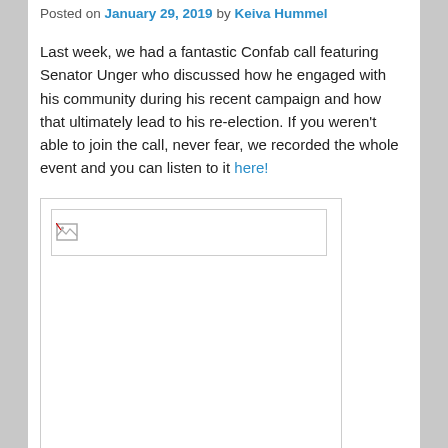Posted on January 29, 2019 by Keiva Hummel
Last week, we had a fantastic Confab call featuring Senator Unger who discussed how he engaged with his community during his recent campaign and how that ultimately lead to his re-election. If you weren't able to join the call, never fear, we recorded the whole event and you can listen to it here!
[Figure (photo): Placeholder image box with broken image icon, no image loaded]
On the call, Senator Unger shared how he focused on the community during his recent re-election campaign against a well-funded opponent who utilized negative attack